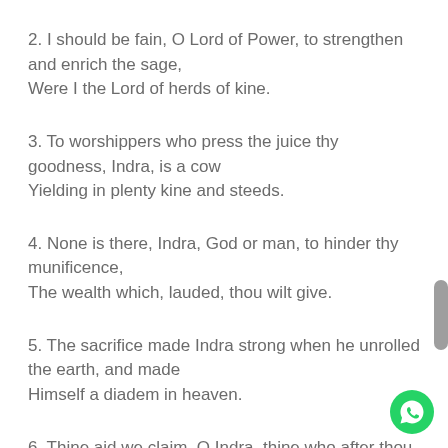2. I should be fain, O Lord of Power, to strengthen and enrich the sage,
Were I the Lord of herds of kine.
3. To worshippers who press the juice thy goodness, Indra, is a cow
Yielding in plenty kine and steeds.
4. None is there, Indra, God or man, to hinder thy munificence,
The wealth which, lauded, thou wilt give.
5. The sacrifice made Indra strong when he unrolled the earth, and made
Himself a diadem in heaven.
6. Thine aid we claim, O Indra, thine who after thou hast waxen great
Hast won all treasures for thine own.